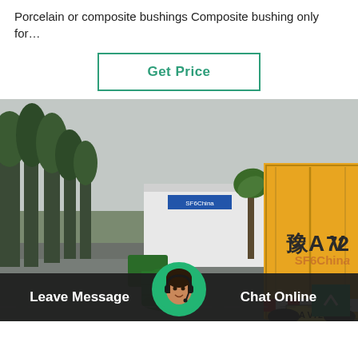Porcelain or composite bushings Composite bushing only for…
[Figure (other): Button with text 'Get Price' in green border and green text on white background]
[Figure (photo): Outdoor photo showing a yellow Chinese delivery truck with license plate V7207 parked near a factory/industrial building. Trees are visible on the left side. The ground is wet (rainy conditions). Green barrels are visible near trees.]
[Figure (other): Bottom navigation bar with 'Leave Message' on left, circular avatar of woman with headset in center, and 'Chat Online' on right. SF6China watermark visible.]